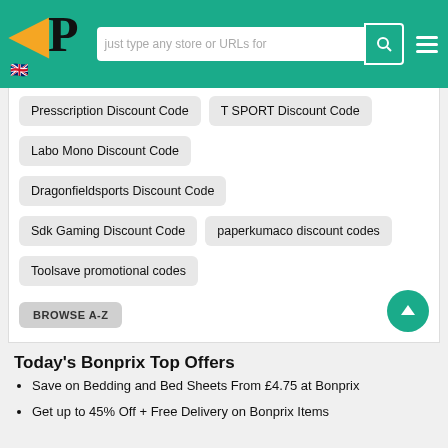P [logo] | just type any store or URLs for | [search] | [menu]
Presscription Discount Code
T SPORT Discount Code
Labo Mono Discount Code
Dragonfieldsports Discount Code
Sdk Gaming Discount Code
paperkumaco discount codes
Toolsave promotional codes
BROWSE A-Z
Today's Bonprix Top Offers
Save on Bedding and Bed Sheets From £4.75 at Bonprix
Get up to 45% Off + Free Delivery on Bonprix Items